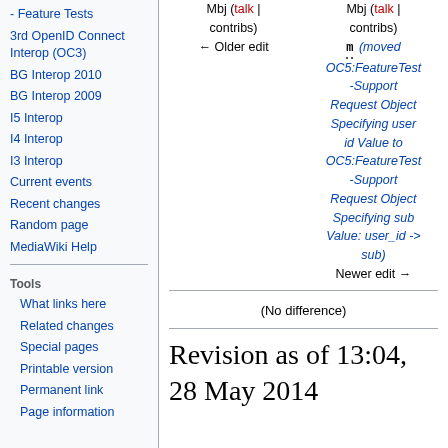- Feature Tests
3rd OpenID Connect Interop (OC3)
BG Interop 2010
BG Interop 2009
I5 Interop
I4 Interop
I3 Interop
Current events
Recent changes
Random page
MediaWiki Help
Tools
What links here
Related changes
Special pages
Printable version
Permanent link
Page information
Mbj (talk | contribs)
← Older edit
Mbj (talk | contribs)
m (moved OC5:FeatureTest-Support Request Object Specifying user id Value to OC5:FeatureTest-Support Request Object Specifying sub Value: user_id -> sub)
Newer edit →
(No difference)
Revision as of 13:04, 28 May 2014